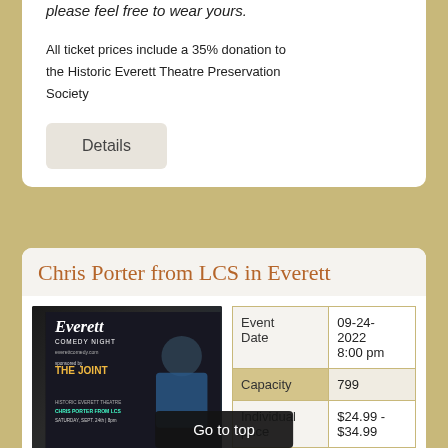please feel free to wear yours.
All ticket prices include a 35% donation to the Historic Everett Theatre Preservation Society
Details
Chris Porter from LCS in Everett
[Figure (photo): Everett Comedy Night promotional image featuring Chris Porter, sponsored by The Joint, at Historic Everett Theatre, Saturday Sept. 24th at 8pm]
|  |  |
| --- | --- |
| Event Date | 09-24-2022 8:00 pm |
| Capacity | 799 |
| Individual price | $24.99 - $34.99 |
Chris Porter, best known for his 3rd place appearance on season 4 of NBC's Last Comic Standing and
Go to top